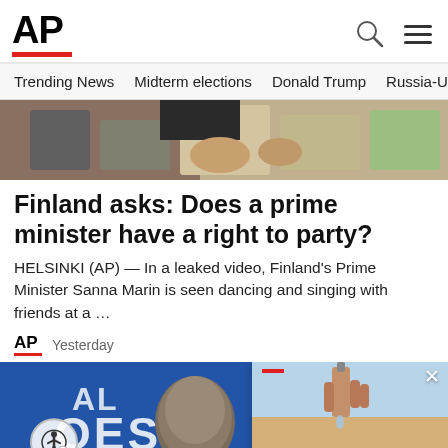AP
Trending News   Midterm elections   Donald Trump   Russia-Ukr
[Figure (photo): Cropped photo showing people's hands and torsos, blue clothing visible]
Finland asks: Does a prime minister have a right to party?
HELSINKI (AP) — In a leaked video, Finland's Prime Minister Sanna Marin is seen dancing and singing with friends at a …
AP   Yesterday
[Figure (photo): Bald man in suit at an event labeled 'Heroes Tribute', with accessibility icon overlay]
[Figure (photo): Popup overlay showing a hand dropping liquid, with headline: Polio in US, UK and Israel reveals rare risk of oral va...]